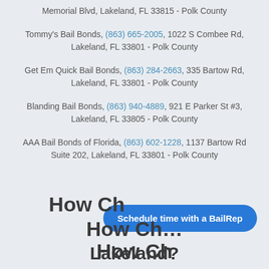Memorial Blvd, Lakeland, FL 33815 - Polk County
Tommy's Bail Bonds, (863) 665-2005, 1022 S Combee Rd, Lakeland, FL 33801 - Polk County
Get Em Quick Bail Bonds, (863) 284-2663, 335 Bartow Rd, Lakeland, FL 33801 - Polk County
Blanding Bail Bonds, (863) 940-4889, 921 E Parker St #3, Lakeland, FL 33805 - Polk County
AAA Bail Bonds of Florida, (863) 602-1228, 1137 Bartow Rd Suite 202, Lakeland, FL 33801 - Polk County
Schedule time with a BailRep
How Ch... Lakeland?